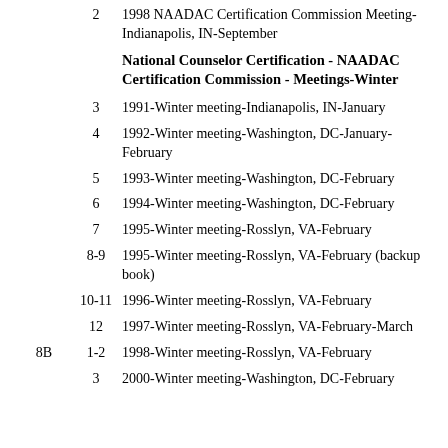2 | 1998 NAADAC Certification Commission Meeting-Indianapolis, IN-September
National Counselor Certification - NAADAC Certification Commission - Meetings-Winter
3 | 1991-Winter meeting-Indianapolis, IN-January
4 | 1992-Winter meeting-Washington, DC-January-February
5 | 1993-Winter meeting-Washington, DC-February
6 | 1994-Winter meeting-Washington, DC-February
7 | 1995-Winter meeting-Rosslyn, VA-February
8-9 | 1995-Winter meeting-Rosslyn, VA-February (backup book)
10-11 | 1996-Winter meeting-Rosslyn, VA-February
12 | 1997-Winter meeting-Rosslyn, VA-February-March
8B | 1-2 | 1998-Winter meeting-Rosslyn, VA-February
3 | 2000-Winter meeting-Washington, DC-February